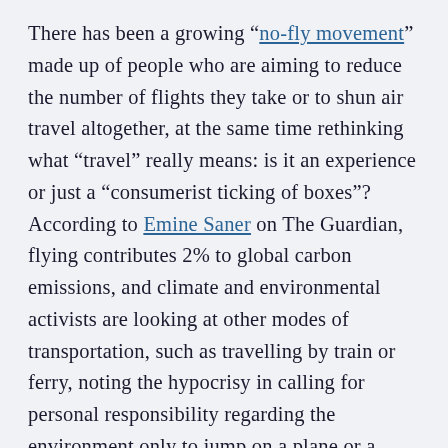There has been a growing “no-fly movement” made up of people who are aiming to reduce the number of flights they take or to shun air travel altogether, at the same time rethinking what “travel” really means: is it an experience or just a “consumerist ticking of boxes”? According to Emine Saner on The Guardian, flying contributes 2% to global carbon emissions, and climate and environmental activists are looking at other modes of transportation, such as travelling by train or ferry, noting the hypocrisy in calling for personal responsibility regarding the environment only to jump on a plane or a private jet. The New York Times reports that a single passenger’s share of emissions on a US cross-country flight (New York to Los Angeles) can melt 32 square feet (roughly 3 square metres) of Arctic sea ice.